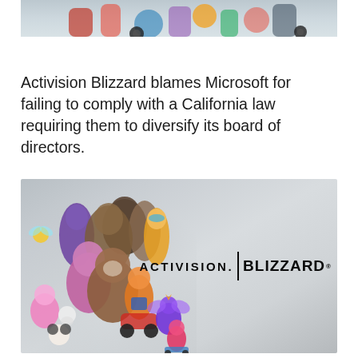[Figure (photo): Partial top image showing colorful game characters or toys, cropped at top of page]
Activision Blizzard blames Microsoft for failing to comply with a California law requiring them to diversify its board of directors.
[Figure (photo): Activision Blizzard promotional image showing a collage of game characters (including characters from Crash Bandicoot, Spyro, World of Warcraft, Overwatch, and other Activision Blizzard games) on the left side, with the Activision Blizzard logo on the right side against a gray gradient background]